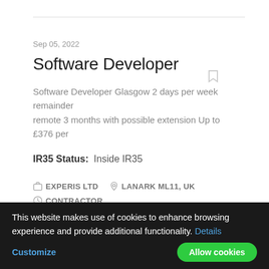Sep 05, 2022
Software Developer
Software Developer Glasgow 2 days per week remainder remote 3 months with possible extension Up to £376 per
IR35 Status: Inside IR35
EXPERIS LTD   LANARK ML11, UK   CONTRACTOR
This website makes use of cookies to enhance browsing experience and provide additional functionality. Details
Customize   Allow cookies